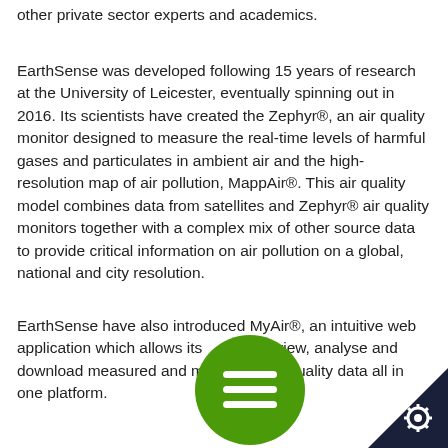other private sector experts and academics.
EarthSense was developed following 15 years of research at the University of Leicester, eventually spinning out in 2016. Its scientists have created the Zephyr®, an air quality monitor designed to measure the real-time levels of harmful gases and particulates in ambient air and the high-resolution map of air pollution, MappAir®. This air quality model combines data from satellites and Zephyr® air quality monitors together with a complex mix of other source data to provide critical information on air pollution on a global, national and city resolution.
EarthSense have also introduced MyAir®, an intuitive web application which allows its users to view, analyse and download measured and modelled air quality data all in one platform.
[Figure (other): Green circular menu button with three horizontal white lines (hamburger menu icon)]
[Figure (other): Dark navy triangle corner with white gear/settings icon]